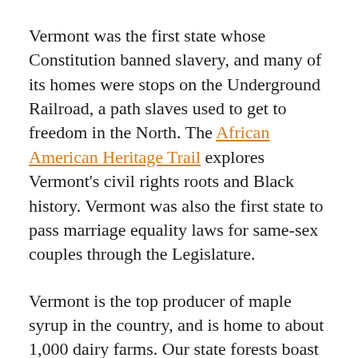Vermont was the first state whose Constitution banned slavery, and many of its homes were stops on the Underground Railroad, a path slaves used to get to freedom in the North. The African American Heritage Trail explores Vermont's civil rights roots and Black history. Vermont was also the first state to pass marriage equality laws for same-sex couples through the Legislature.
Vermont is the top producer of maple syrup in the country, and is home to about 1,000 dairy farms. Our state forests boast the highest concentration of sugar maples in the U.S., which gives our fall foliage plenty of pop.
About 630,000 people call Vermont home and enjoy more than 1,000 hiking trails, more than